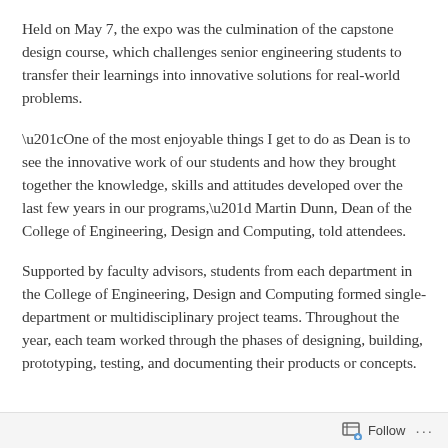Held on May 7, the expo was the culmination of the capstone design course, which challenges senior engineering students to transfer their learnings into innovative solutions for real-world problems.
“One of the most enjoyable things I get to do as Dean is to see the innovative work of our students and how they brought together the knowledge, skills and attitudes developed over the last few years in our programs,” Martin Dunn, Dean of the College of Engineering, Design and Computing, told attendees.
Supported by faculty advisors, students from each department in the College of Engineering, Design and Computing formed single-department or multidisciplinary project teams. Throughout the year, each team worked through the phases of designing, building, prototyping, testing, and documenting their products or concepts.
Follow